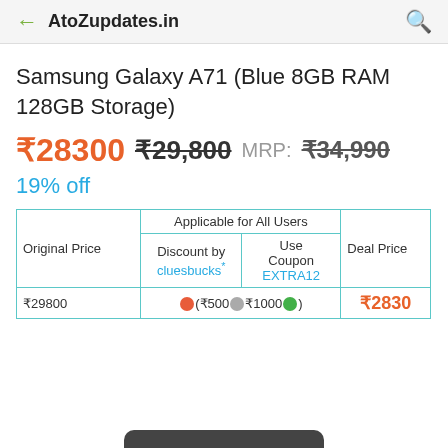AtoZupdates.in
Samsung Galaxy A71 (Blue 8GB RAM 128GB Storage)
₹28300  ₹29,800  MRP: ₹34,990
19% off
| Original Price | Applicable for All Users: Discount by cluesbucks* | Use Coupon EXTRA12 | Deal Price |
| --- | --- | --- |
| ₹29800 | (₹500 + ₹1000) | ₹2830 |